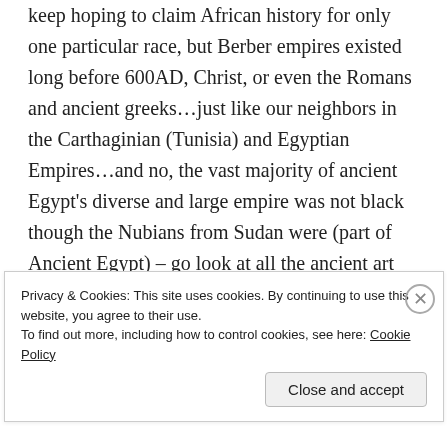keep hoping to claim African history for only one particular race, but Berber empires existed long before 600AD, Christ, or even the Romans and ancient greeks...just like our neighbors in the Carthaginian (Tunisia) and Egyptian Empires...and no, the vast majority of ancient Egypt's diverse and large empire was not black though the Nubians from Sudan were (part of Ancient Egypt) – go look at all the ancient art and statutes in the Louvre/British Museum if you lack
Privacy & Cookies: This site uses cookies. By continuing to use this website, you agree to their use.
To find out more, including how to control cookies, see here: Cookie Policy
Close and accept